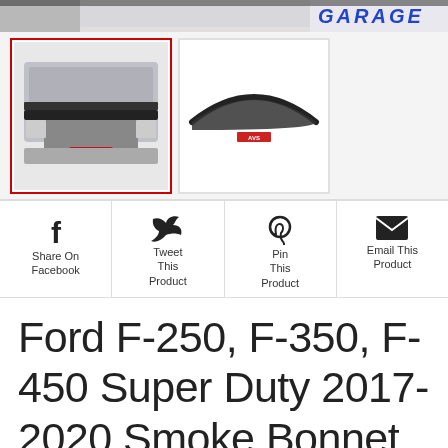[Figure (photo): Top cropped image of a vehicle with 'GARAGE' text visible in blue, partial view of a truck with hood protector]
[Figure (photo): Thumbnail gallery showing two product images: first selected thumbnail shows AVS hood protector on truck, second thumbnail shows the hood protector accessory standalone on white background]
Share On Facebook
Tweet This Product
Pin This Product
Email This Product
Ford F-250, F-350, F-450 Super Duty 2017-2020 Smoke Bonnet Protector AVS